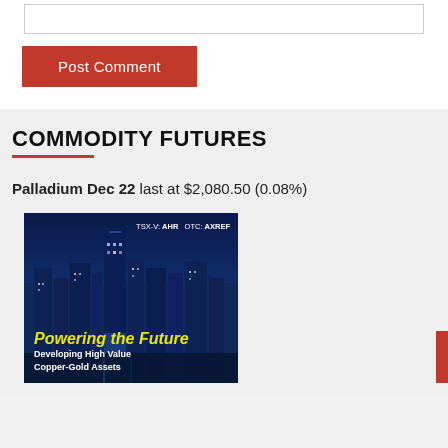[Figure (screenshot): White form input area at top]
Post Comment
COMMODITY FUTURES
Palladium Dec 22 last at $2,080.50 (0.08%)
[Figure (illustration): Advertisement banner: city skyline at night with blue background. Text reads TSX-V: AHR OTC: AXREF. Yellow italic text: Powering the Future. White text: Developing High Value Copper-Gold Assets.]